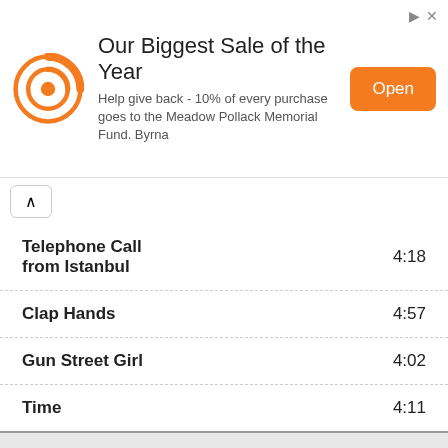[Figure (other): Advertisement banner with orange circular logo, heading 'Our Biggest Sale of the Year', body text 'Help give back - 10% of every purchase goes to the Meadow Pollack Memorial Fund. Byrna', and orange 'Open' button]
Telephone Call from Istanbul  4:18
Clap Hands  4:57
Gun Street Girl  4:02
Time  4:11
Sea of Love [1988]
| Song | Duration |
| --- | --- |
| Sea of Love | 3:43 |
[Figure (photo): Album cover for Sea of Love (1988) — dark reddish-brown background with white serif title text 'SEA OF LOVE' and a glowing candle]